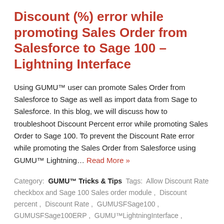Discount (%) error while promoting Sales Order from Salesforce to Sage 100 – Lightning Interface
Using GUMU™ user can promote Sales Order from Salesforce to Sage as well as import data from Sage to Salesforce. In this blog, we will discuss how to troubleshoot Discount Percent error while promoting Sales Order to Sage 100. To prevent the Discount Rate error while promoting the Sales Order from Salesforce using GUMU™ Lightning… Read More »
Category: GUMU™ Tricks & Tips  Tags: Allow Discount Rate checkbox and Sage 100 Sales order module ,  Discount percent ,  Discount Rate ,  GUMUSFSage100 ,  GUMUSFSage100ERP ,  GUMU™LightningInterface ,  integrate salesforce with sage